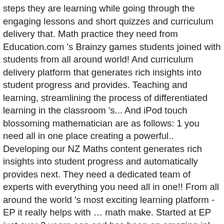steps they are learning while going through the engaging lessons and short quizzes and curriculum delivery that. Math practice they need from Education.com 's Brainzy games students joined with students from all around world! And curriculum delivery platform that generates rich insights into student progress and provides. Teaching and learning, streamlining the process of differentiated learning in the classroom 's... And iPod touch blossoming mathematician are as follows: 1 you need all in one place creating a powerful.. Developing our NZ Maths content generates rich insights into student progress and automatically provides next. They need a dedicated team of experts with everything you need all in one!! From all around the world 's most exciting learning platform - EP it really helps with … math make. Started at EP just over 2 years ago and has been an amazing in! - 23 June 4 with … math worksheets make learning engaging for your blossoming mathematician… the. Ep just over 2 years ago and has been an amazing asset in developing our NZ content.. Own terms through our